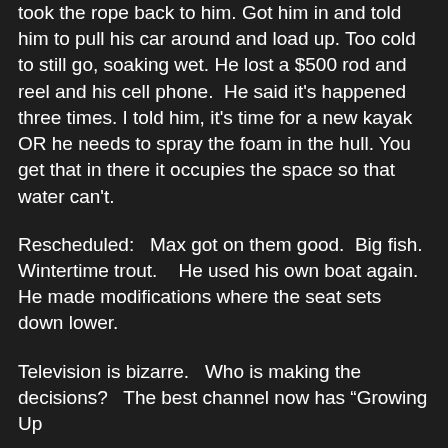took the rope back to him. Got him in and told him to pull his car around and load up. Too cold to still go, soaking wet. He lost a $500 rod and reel and his cell phone. He said it's happened three times. I told him, it's time for a new kayak OR he needs to spray the foam in the hull. You get that in there it occupies the space so that water can't.
Rescheduled: Max got on them good. Big fish. Wintertime trout. He used his own boat again. He made modifications where the seat sets down lower.
Television is bizarre. Who is making the decisions? The best channel now has "Growing Up